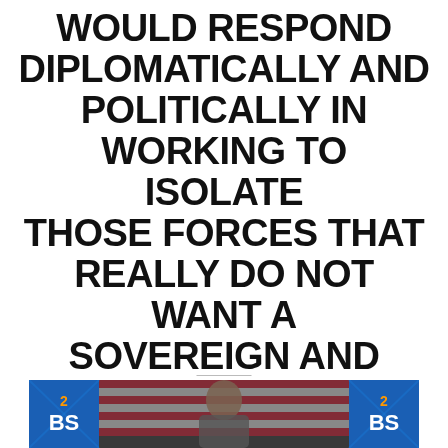THE UNITED STATES WOULD RESPOND DIPLOMATICALLY AND POLITICALLY IN WORKING TO ISOLATE THOSE FORCES THAT REALLY DO NOT WANT A SOVEREIGN AND DEMOCRATIC MONTENEGRO
[Figure (screenshot): Television broadcast screenshot showing a person with an American flag in the background, with the '2BS' logo displayed on both left and right sides of the screen.]